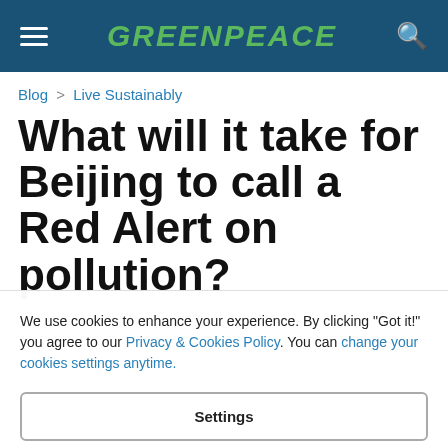GREENPEACE
Blog > Live Sustainably
What will it take for Beijing to call a Red Alert on pollution?
We use cookies to enhance your experience. By clicking "Got it!" you agree to our Privacy & Cookies Policy. You can change your cookies settings anytime.
Settings
Accept all cookies